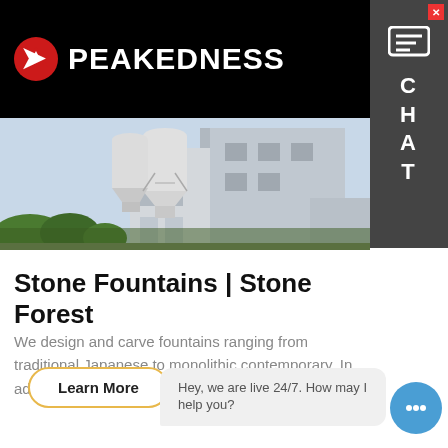PEAKEDNESS
[Figure (photo): Industrial concrete plant or cement silo facility with two cylindrical silos and multi-story building structure, outdoor setting with trees in foreground]
Stone Fountains | Stone Forest
We design and carve fountains ranging from traditional Japanese to monolithic contemporary. In addition to our…
Learn More
Hey, we are live 24/7. How may I help you?